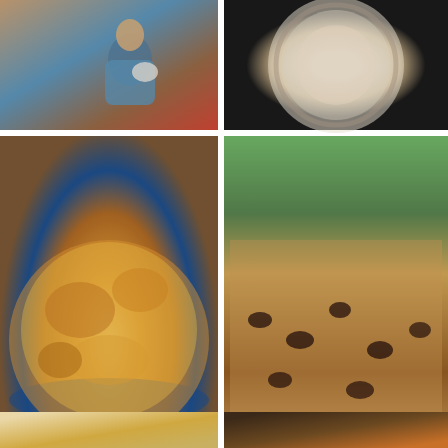[Figure (photo): Grid of food photos: top-left shows a man holding a bowl, top-right shows a decorative plate, middle-left shows a golden-brown casserole/gratin dish in a blue-rimmed bowl, middle-right shows a baked tray of pastries with dark fruit, bottom-left and bottom-right show additional food close-ups.]
Privacy & Cookies: This site uses cookies. By continuing to use this website, you agree to their use.
To find out more, including how to control cookies, see here: Cookie Policy
CLOSE AND ACCEPT